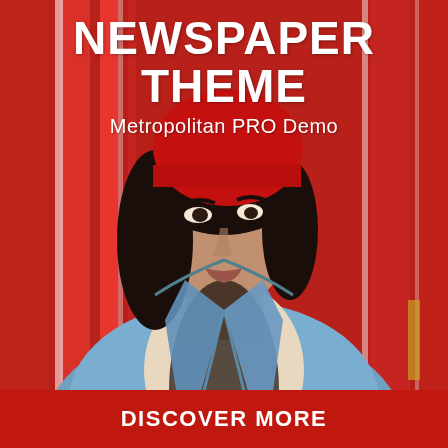[Figure (photo): Young woman with dark hair wearing a red beanie hat and denim jacket, standing in front of a red striped background, looking over her shoulder at the camera.]
NEWSPAPER THEME
Metropolitan PRO Demo
DISCOVER MORE